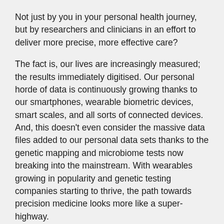Not just by you in your personal health journey, but by researchers and clinicians in an effort to deliver more precise, more effective care?
The fact is, our lives are increasingly measured; the results immediately digitised. Our personal horde of data is continuously growing thanks to our smartphones, wearable biometric devices, smart scales, and all sorts of connected devices. And, this doesn't even consider the massive data files added to our personal data sets thanks to the genetic mapping and microbiome tests now breaking into the mainstream. With wearables growing in popularity and genetic testing companies starting to thrive, the path towards precision medicine looks more like a super-highway.
Science and medicine are constantly identifying more and more ways to use data to drive ever more personalised and effective care. It's no surprise, considering the amount of personal data available for analysis and decision support. And, that data continues to get deeper and richer with every wearable device and test that comes to market. This has allowed people to identify risks and take steps to prevent